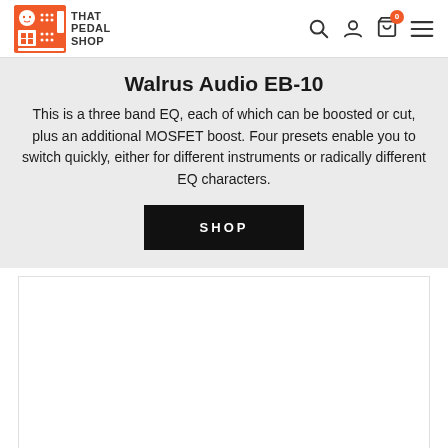That Pedal Shop — navigation header with logo, search, user, cart (0), and menu icons
Walrus Audio EB-10
This is a three band EQ, each of which can be boosted or cut, plus an additional MOSFET boost. Four presets enable you to switch quickly, either for different instruments or radically different EQ characters.
[Figure (other): Black SHOP button / call-to-action]
[Figure (photo): Product image area (white box, content not visible)]